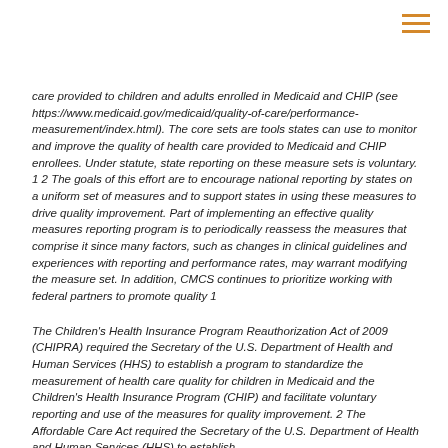care provided to children and adults enrolled in Medicaid and CHIP (see https://www.medicaid.gov/medicaid/quality-of-care/performance-measurement/index.html). The core sets are tools states can use to monitor and improve the quality of health care provided to Medicaid and CHIP enrollees. Under statute, state reporting on these measure sets is voluntary. 1 2 The goals of this effort are to encourage national reporting by states on a uniform set of measures and to support states in using these measures to drive quality improvement. Part of implementing an effective quality measures reporting program is to periodically reassess the measures that comprise it since many factors, such as changes in clinical guidelines and experiences with reporting and performance rates, may warrant modifying the measure set. In addition, CMCS continues to prioritize working with federal partners to promote quality 1
The Children's Health Insurance Program Reauthorization Act of 2009 (CHIPRA) required the Secretary of the U.S. Department of Health and Human Services (HHS) to establish a program to standardize the measurement of health care quality for children in Medicaid and the Children's Health Insurance Program (CHIP) and facilitate voluntary reporting and use of the measures for quality improvement. 2 The Affordable Care Act required the Secretary of the U.S. Department of Health and Human Services (HHS) to establish